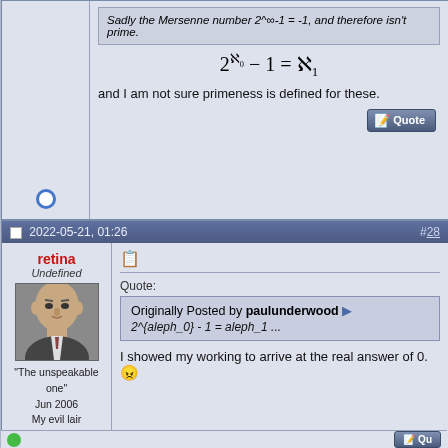Sadly the Mersenne number 2^∞-1 = -1, and therefore isn't prime.
and I am not sure primeness is defined for these.
2022-05-21, 01:26  #28
retina
Undefined
[Figure (photo): Avatar photo of user retina, showing a bald man in a suit]
"The unspeakable one"
Jun 2006
My evil lair

2^2×31×53 Posts
Originally Posted by paulunderwood
2^{aleph_0} - 1 = aleph_1 ...
I showed my working to arrive at the real answer of 0. 😠